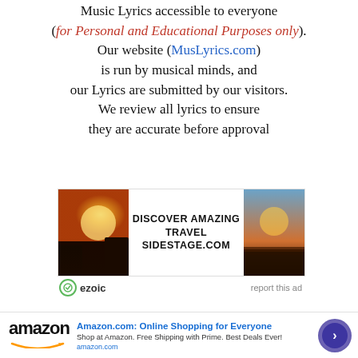Music Lyrics accessible to everyone (for Personal and Educational Purposes only). Our website (MusLyrics.com) is run by musical minds, and our Lyrics are submitted by our visitors. We review all lyrics to ensure they are accurate before approval
[Figure (screenshot): Advertisement banner: 'DISCOVER AMAZING TRAVEL SIDESTAGE.COM' with sunset/nature photos on left and right, ezoic badge bottom left, 'report this ad' bottom right]
[Figure (screenshot): Amazon.com advertisement banner: Amazon logo on left, 'Amazon.com: Online Shopping for Everyone' headline, 'Shop at Amazon. Free Shipping with Prime. Best Deals Ever!' subtitle, amazon.com URL, circular arrow button on right, close X button]